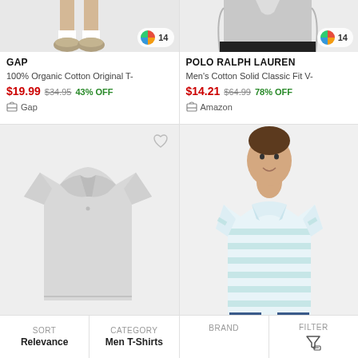[Figure (photo): Cropped image of legs/shoes of a person wearing sneakers on white background, top product card left]
GAP
100% Organic Cotton Original T-
$19.99  $34.95  43% OFF
Gap
[Figure (photo): Cropped image of torso/chest of person wearing light grey shirt on grey background, top product card right]
POLO RALPH LAUREN
Men's Cotton Solid Classic Fit V-
$14.21  $64.99  78% OFF
Amazon
[Figure (photo): Grey polo shirt on white/light grey background, bottom left card]
[Figure (photo): Man wearing light blue and white striped polo shirt, bottom right card]
SORT
Relevance
CATEGORY
Men T-Shirts
BRAND
FILTER